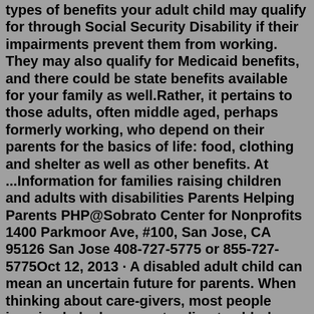types of benefits your adult child may qualify for through Social Security Disability if their impairments prevent them from working. They may also qualify for Medicaid benefits, and there could be state benefits available for your family as well.Rather, it pertains to those adults, often middle aged, perhaps formerly working, who depend on their parents for the basics of life: food, clothing and shelter as well as other benefits. At ...Information for families raising children and adults with disabilities Parents Helping Parents PHP@Sobrato Center for Nonprofits 1400 Parkmoor Ave, #100, San Jose, CA 95126 San Jose 408-727-5775 or 855-727-5775Oct 12, 2013 · A disabled adult child can mean an uncertain future for parents. When thinking about care-givers, most people imagine baby boomers tending to elderly parents. But there's another kind of care ... Parents may also be the provider for an adult with disabilities. You If you have a job and earn money, then part of your earnings may need to help pay your basic living